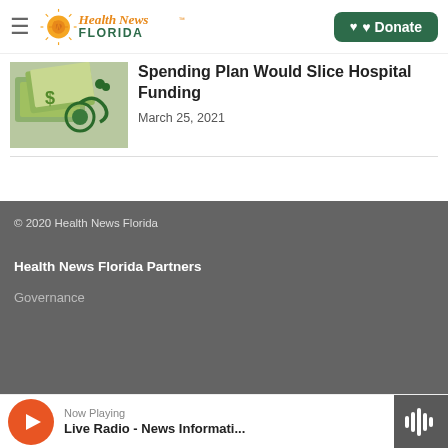[Figure (logo): Health News Florida logo with sun/heartbeat graphic]
Spending Plan Would Slice Hospital Funding
March 25, 2021
© 2020 Health News Florida
Health News Florida Partners
Governance
Now Playing Live Radio - News Informati...